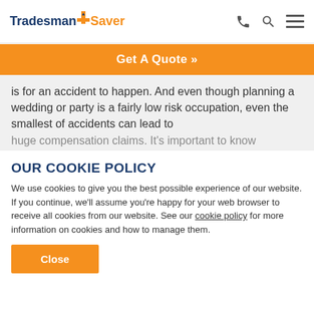TradesmanSaver — Get A Quote
is for an accident to happen. And even though planning a wedding or party is a fairly low risk occupation, even the smallest of accidents can lead to huge compensation claims. It's important to know...
OUR COOKIE POLICY
We use cookies to give you the best possible experience of our website. If you continue, we'll assume you're happy for your web browser to receive all cookies from our website. See our cookie policy for more information on cookies and how to manage them.